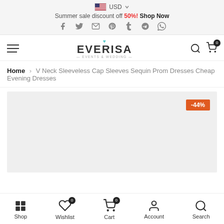USD — Summer sale discount off 50%! Shop Now
[Figure (logo): Everisa Events & Wedding logo with teal heart icon]
Home > V Neck Sleeveless Cap Sleeves Sequin Prom Dresses Cheap Evening Dresses
[Figure (photo): Product image placeholder with -44% discount badge, light gray background]
Shop | Wishlist 0 | Cart 0 | Account | Search